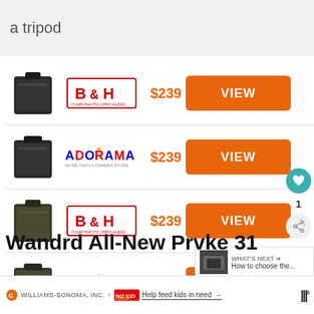a tripod
[Figure (screenshot): Product listing row: black bag, B&H logo, $239, VIEW button]
[Figure (screenshot): Product listing row: black bag, Adorama logo, $239, VIEW button]
[Figure (screenshot): Product listing row: green bag, B&H logo, $239, VIEW button]
[Figure (screenshot): Product listing row: green bag, Adorama logo, $239, VIEW button]
Wandrd All-New Prvke 31
WILLIAMS-SONOMA, INC. × NO KID HUNGRY Help feed kids in need →